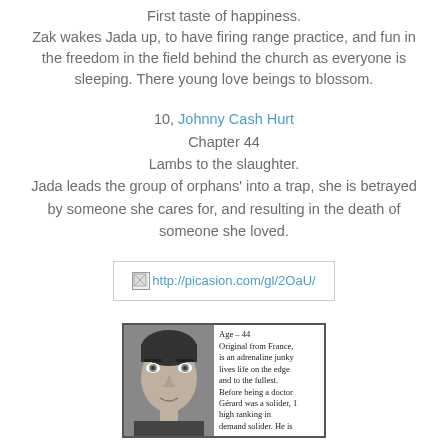First taste of happiness.
Zak wakes Jada up, to have firing range practice, and fun in the freedom in the field behind the church as everyone is sleeping. There young love beings to blossom.
10, Johnny Cash Hurt
Chapter 44
Lambs to the slaughter.
Jada leads the group of orphans' into a trap, she is betrayed by someone she cares for, and resulting in the death of someone she loved.
[Figure (other): Broken image placeholder showing URL: http://picasion.com/gl/2OaU/]
[Figure (other): Character card showing a black and white photo of a man's face with text: Age - 44, Original from France, is an adrenaline junky lives life on the edge and to the fullest. Before being a doctor Gérard was a solider, 1 high ranking in demand solider. He is]